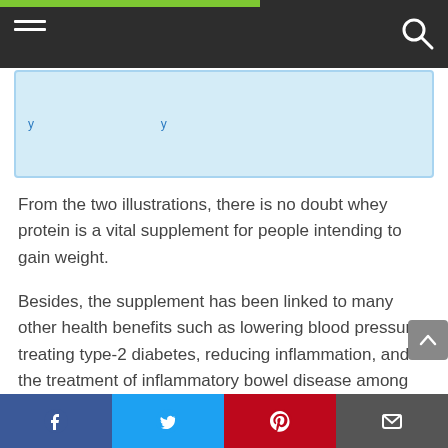[Figure (screenshot): Light blue information box with partially visible blue hyperlink text]
From the two illustrations, there is no doubt whey protein is a vital supplement for people intending to gain weight.
Besides, the supplement has been linked to many other health benefits such as lowering blood pressure, treating type-2 diabetes, reducing inflammation, and in the treatment of inflammatory bowel disease among others.
Are you contemplating taking whey protein to boost
Facebook Twitter Pinterest Email